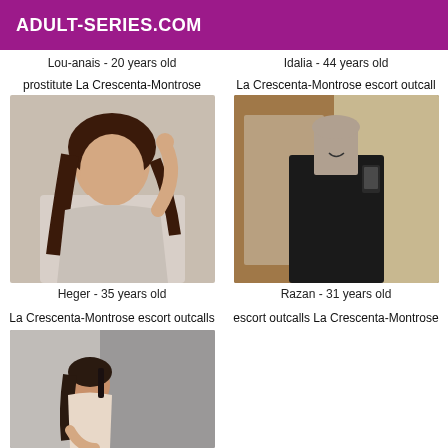ADULT-SERIES.COM
Lou-anais - 20 years old
Idalia - 44 years old
prostitute La Crescenta-Montrose
[Figure (photo): Woman with dark hair posing with arm raised, wearing light grey top]
Heger - 35 years old
La Crescenta-Montrose escort outcall
[Figure (photo): Woman in black outfit taking a mirror selfie in an elevator]
Razan - 31 years old
La Crescenta-Montrose escort outcalls
escort outcalls La Crescenta-Montrose
[Figure (photo): Woman sitting in a small space, partial view]